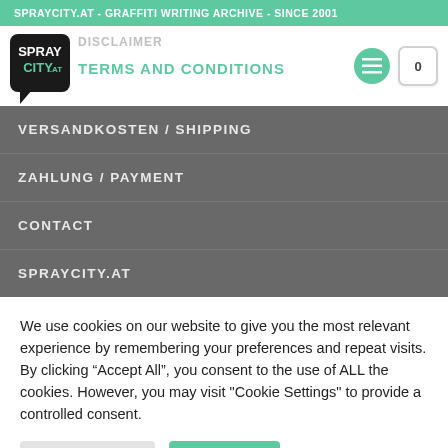SPRAYCITY.AT - GRAFFITI WRITING ARCHIVE - SINCE 2001
[Figure (logo): SprayCity.at logo - speech bubble shaped logo with white and green text on dark background]
DISCLAIMER
TERMS AND CONDITIONS
VERSANDKOSTEN / SHIPPING
ZAHLUNG / PAYMENT
CONTACT
SPRAYCITY.AT
We use cookies on our website to give you the most relevant experience by remembering your preferences and repeat visits. By clicking “Accept All”, you consent to the use of ALL the cookies. However, you may visit "Cookie Settings" to provide a controlled consent.
Cookie Settings
Accept All